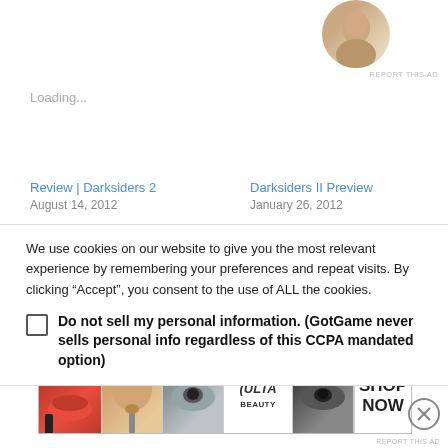[Figure (photo): Circular cropped photo of a person at top right, partially visible]
REPORT THIS AD
Loading...
Review | Darksiders 2
August 14, 2012
Darksiders II Preview
January 26, 2012
We use cookies on our website to give you the most relevant experience by remembering your preferences and repeat visits. By clicking “Accept”, you consent to the use of ALL the cookies.
Do not sell my personal information. (GotGame never sells personal info regardless of this CCPA mandated option)
Advertisements
[Figure (photo): ULTA beauty advertisement banner showing makeup looks and SHOP NOW button]